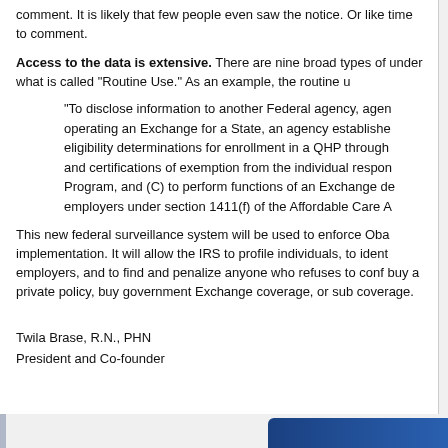comment. It is likely that few people even saw the notice. Or like time to comment.
Access to the data is extensive. There are nine broad types of under what is called "Routine Use." As an example, the routine u
"To disclose information to another Federal agency, agen operating an Exchange for a State, an agency establishe eligibility determinations for enrollment in a QHP through and certifications of exemption from the individual respon Program, and (C) to perform functions of an Exchange de employers under section 1411(f) of the Affordable Care A
This new federal surveillance system will be used to enforce Oba implementation. It will allow the IRS to profile individuals, to ident employers, and to find and penalize anyone who refuses to conf buy a private policy, buy government Exchange coverage, or sub coverage.
Twila Brase, R.N., PHN
President and Co-founder